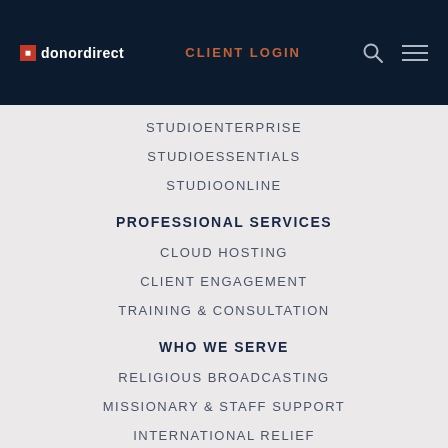donordirect | CLIENT LOGIN
STUDIOENTERPRISE
STUDIOESSENTIALS
STUDIOONLINE
PROFESSIONAL SERVICES
CLOUD HOSTING
CLIENT ENGAGEMENT
TRAINING & CONSULTATION
WHO WE SERVE
RELIGIOUS BROADCASTING
MISSIONARY & STAFF SUPPORT
INTERNATIONAL RELIEF
CHILD SPONSORSHIP